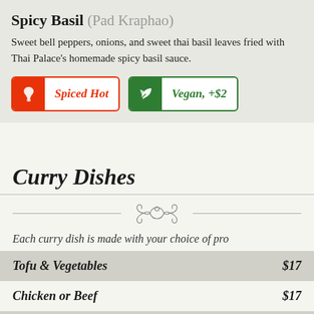Spicy Basil (Pad Kraphao)
Sweet bell peppers, onions, and sweet thai basil leaves fried with Thai Palace's homemade spicy basil sauce.
Spiced Hot
Vegan, +$2
Curry Dishes
Each curry dish is made with your choice of pro
| Item | Price |
| --- | --- |
| Tofu & Vegetables | $17 |
| Chicken or Beef | $17 |
| Chicken & Shrimp | $17 |